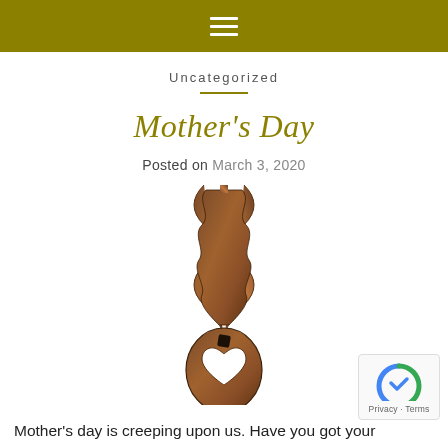≡
Uncategorized
Mother's Day
Posted on March 3, 2020
[Figure (photo): A wooden braided pendant with a heart cutout at the bottom, photographed on a white background.]
Mother's day is creeping upon us. Have you got your